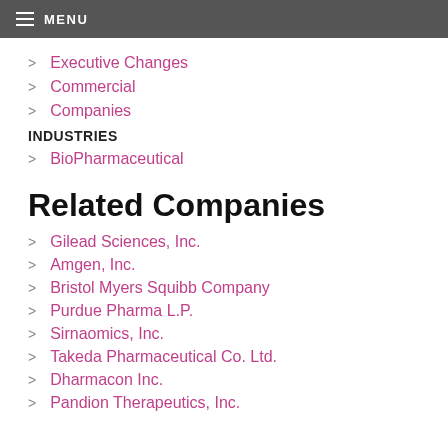MENU
Executive Changes
Commercial
Companies
INDUSTRIES
BioPharmaceutical
Related Companies
Gilead Sciences, Inc.
Amgen, Inc.
Bristol Myers Squibb Company
Purdue Pharma L.P.
Sirnaomics, Inc.
Takeda Pharmaceutical Co. Ltd.
Dharmacon Inc.
Pandion Therapeutics, Inc.